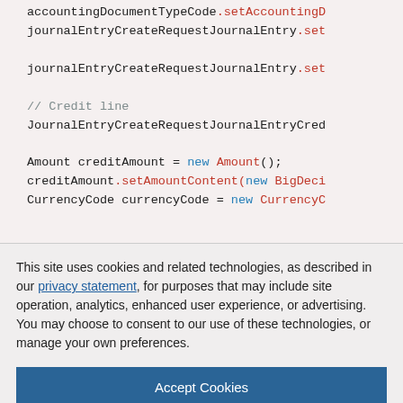[Figure (screenshot): Code snippet showing Java code with accountingDocumentTypeCode, journalEntryCreateRequestJournalEntry, credit line comment, JournalEntryCreateRequestJournalEntryCred, Amount creditAmount = new Amount(), creditAmount.setAmountContent(new BigDeci..., CurrencyCode currencyCode = new CurrencyC...]
This site uses cookies and related technologies, as described in our privacy statement, for purposes that may include site operation, analytics, enhanced user experience, or advertising. You may choose to consent to our use of these technologies, or manage your own preferences.
Accept Cookies
More Information
Privacy Policy | Powered by: TrustArc
[Figure (screenshot): Code snippet showing // Debit line comment]